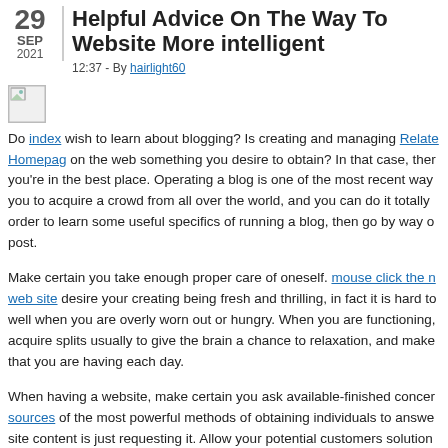29 SEP 2021
Helpful Advice On The Way To Website More intelligent
12:37 - By hairlight60
[Figure (photo): Broken image placeholder icon]
Do index wish to learn about blogging? Is creating and managing Related Homepag on the web something you desire to obtain? In that case, then you're in the best place. Operating a blog is one of the most recent ways you to acquire a crowd from all over the world, and you can do it totally in order to learn some useful specifics of running a blog, then go by way o post.
Make certain you take enough proper care of oneself. mouse click the n web site desire your creating being fresh and thrilling, in fact it is hard to well when you are overly worn out or hungry. When you are functioning, acquire splits usually to give the brain a chance to relaxation, and make that you are having each day.
When having a website, make certain you ask available-finished concer sources of the most powerful methods of obtaining individuals to answe site content is just requesting it. Allow your potential customers solution questions you have by welcoming those to reply having a comment. As